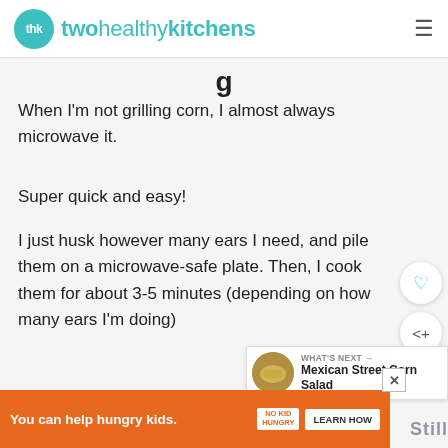twohealthykitchens
g
When I'm not grilling corn, I almost always microwave it.
Super quick and easy!
I just husk however many ears I need, and pile them on a microwave-safe plate. Then, I cook them for about 3-5 minutes (depending on how many ears I'm doing)
Grilling
You can help hungry kids. NO KID HUNGRY LEARN HOW